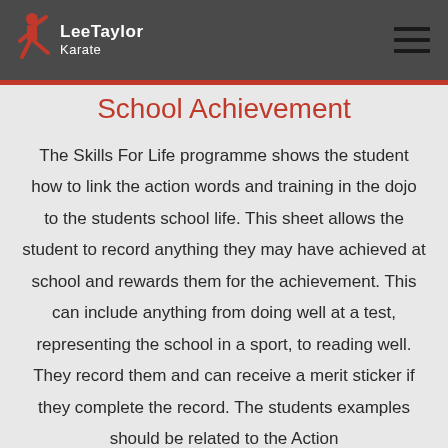LeeTaylor Karate
School Achievement
The Skills For Life programme shows the student how to link the action words and training in the dojo to the students school life. This sheet allows the student to record anything they may have achieved at school and rewards them for the achievement. This can include anything from doing well at a test, representing the school in a sport, to reading well. They record them and can receive a merit sticker if they complete the record. The students examples should be related to the Action